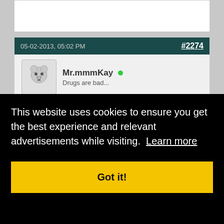(partial post content area above)
05-02-2013, 05:02 PM  #2274
Mr.mmmKay [online]
Drugs are bad...
Belgian player in Champions and Europa league final aorn 😎
#2275
This website uses cookies to ensure you get the best experience and relevant advertisements while visiting. Learn more
Got it!